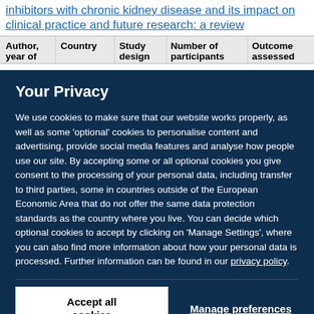inhibitors with chronic kidney disease and its impact on clinical practice and future research: a review
| Author, year of | Country | Study design | Number of participants | Outcome assessed |
| --- | --- | --- | --- | --- |
Your Privacy
We use cookies to make sure that our website works properly, as well as some 'optional' cookies to personalise content and advertising, provide social media features and analyse how people use our site. By accepting some or all optional cookies you give consent to the processing of your personal data, including transfer to third parties, some in countries outside of the European Economic Area that do not offer the same data protection standards as the country where you live. You can decide which optional cookies to accept by clicking on 'Manage Settings', where you can also find more information about how your personal data is processed. Further information can be found in our privacy policy.
Accept all cookies
Manage preferences